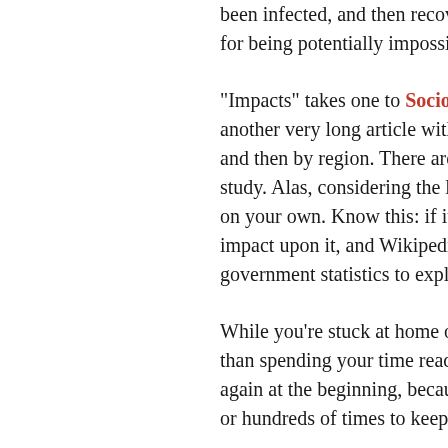been infected, and then recovered, from COVID-19 for being potentially impossibly long,
“Impacts” takes one to Socio-economic impacts another very long article with numerous sections, and then by region. There are dozens of sections to study. Alas, considering the length of these articles, on your own. Know this: if it exists in life, COVID has impact upon it, and Wikipedia editors have used government statistics to explain it.
While you’re stuck at home over the next few months, than spending your time reading it all. You could start again at the beginning, because WikiPedia is updated or hundreds of times to keep up with the changes.
I can’t resist leaving you with a couple of things that didn’t fit into the post above: